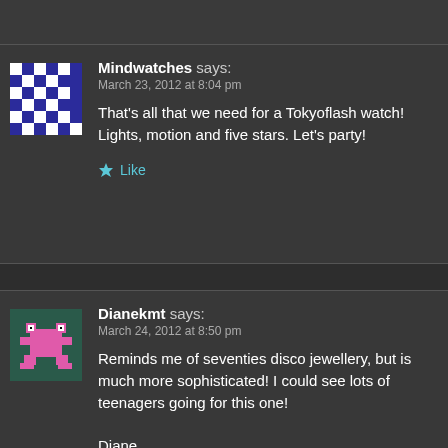Mindwatches says: March 23, 2012 at 8:04 pm — That's all that we need for a Tokyoflash watch! Lights, motion and five stars. Let's party!
Dianekmt says: March 24, 2012 at 8:50 pm — Reminds me of seventies disco jewellery, but is much more sophisticated! I could see lots of teenagers going for this one! Diane.